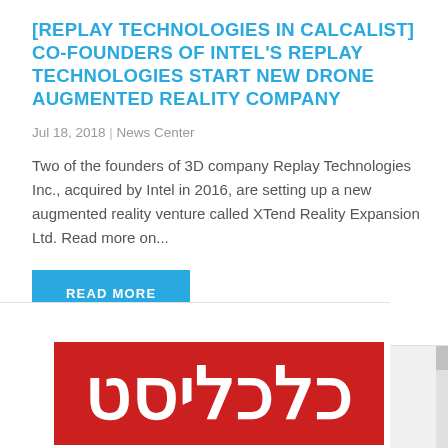[REPLAY TECHNOLOGIES IN CALCALIST] CO-FOUNDERS OF INTEL'S REPLAY TECHNOLOGIES START NEW DRONE AUGMENTED REALITY COMPANY
Jul 18, 2018 | News Center
Two of the founders of 3D company Replay Technologies Inc., acquired by Intel in 2016, are setting up a new augmented reality venture called XTend Reality Expansion Ltd. Read more on...
[Figure (logo): Calcalist logo — red background with white Hebrew text reading כלכליסט]